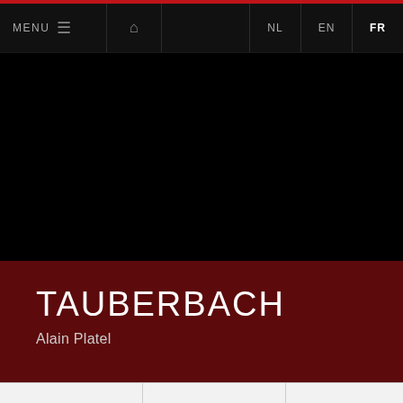MENU  🏠  NL  EN  FR
[Figure (photo): Large black image area, appears to be a dark stage or performance photo]
TAUBERBACH
Alain Platel